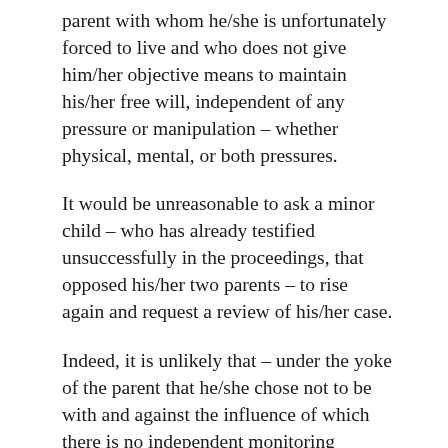parent with whom he/she is unfortunately forced to live and who does not give him/her objective means to maintain his/her free will, independent of any pressure or manipulation – whether physical, mental, or both pressures.
It would be unreasonable to ask a minor child – who has already testified unsuccessfully in the proceedings, that opposed his/her two parents – to rise again and request a review of his/her case.
Indeed, it is unlikely that – under the yoke of the parent that he/she chose not to be with and against the influence of which there is no independent monitoring procedures whether judicial or extra-judicial – a minor child will